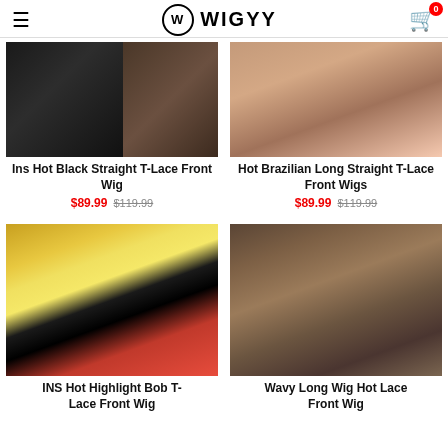WIGYY
[Figure (photo): Ins Hot Black Straight T-Lace Front Wig product photo showing woman in black bra and wig cap]
Ins Hot Black Straight T-Lace Front Wig
$89.99 $119.99
[Figure (photo): Hot Brazilian Long Straight T-Lace Front Wigs product photo showing woman with long straight brown hair in pink top]
Hot Brazilian Long Straight T-Lace Front Wigs
$89.99 $119.99
[Figure (photo): INS Hot Highlight Bob T-Lace Front Wig product photo showing woman with blonde bob wig in red outfit]
INS Hot Highlight Bob T-Lace Front Wig
[Figure (photo): Wavy Long Wig Hot Lace Front Wig product photo showing woman with long wavy dark hair]
Wavy Long Wig Hot Lace Front Wig